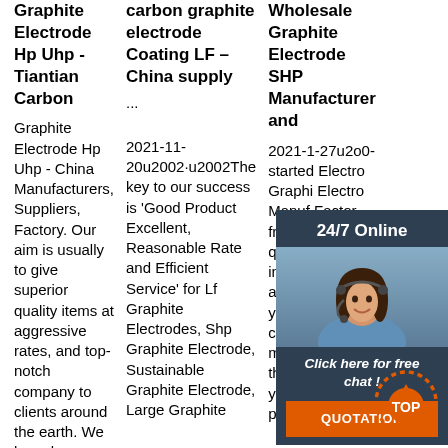Graphite Electrode Hp Uhp - Tiantian Carbon
Graphite Electrode Hp Uhp - China Manufacturers, Suppliers, Factory. Our aim is usually to give superior quality items at aggressive rates, and top-notch company to clients around the earth. We have been ISO9001, CE, and GS certified and strictly adhere to their good quality specifications for
carbon graphite electrode Coating LF – China supply
··· 2021-11-20u2002·u2002The key to our success is 'Good Product Excellent, Reasonable Rate and Efficient Service' for Lf Graphite Electrodes, Shp Graphite Electrode, Sustainable Graphite Electrode, Large Graphite
Wholesale Graphite Electrode SHP Manufacturer and
2021-1-27u2002 started Electro Graphi Electro Manuf Factor from C and ve quotations, informed advisers to help you choose the correct merchandise that suits all your preferences, a
[Figure (infographic): Customer service chat widget with '24/7 Online' header, photo of woman with headset, 'Click here for free chat!' text, and orange QUOTATION button]
[Figure (infographic): Orange dotted TOP button in bottom right corner]